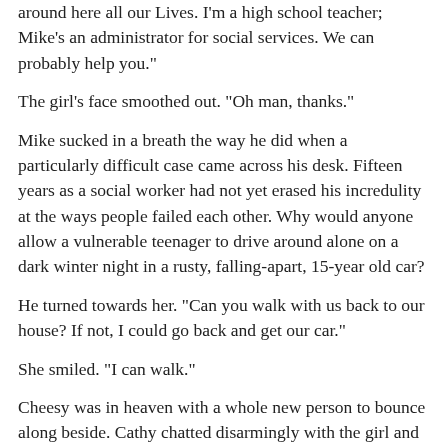around here all our Lives. I'm a high school teacher; Mike's an administrator for social services. We can probably help you."
The girl's face smoothed out. "Oh man, thanks."
Mike sucked in a breath the way he did when a particularly difficult case came across his desk. Fifteen years as a social worker had not yet erased his incredulity at the ways people failed each other. Why would anyone allow a vulnerable teenager to drive around alone on a dark winter night in a rusty, falling-apart, 15-year old car?
He turned towards her. "Can you walk with us back to our house? If not, I could go back and get our car."
She smiled. "I can walk."
Cheesy was in heaven with a whole new person to bounce along beside. Cathy chatted disarmingly with the girl and in the process learned a lot.
Her name was Michelle Granger and she grew up with her mom in northern California. About eight years ago her mom married a man who had adopted her at the time although he never really seemed to like her full-out. When her mom had new kids he had acted even more distant. A year and a half ago her mother had